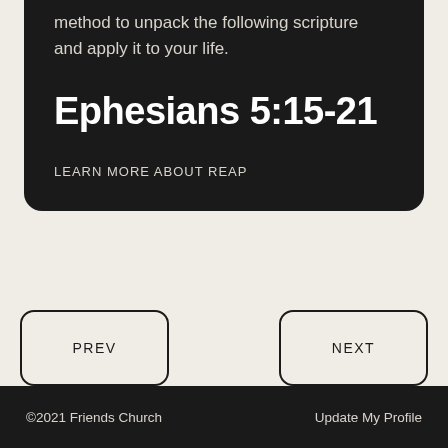method to unpack the following scripture and apply it to your life.
Ephesians 5:15-21
LEARN MORE ABOUT REAP
PREV
NEXT
©2021 Friends Church    Update My Profile